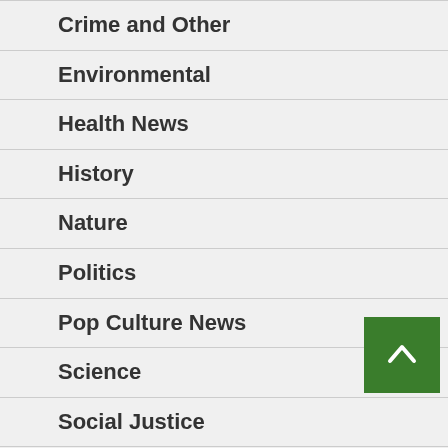Crime and Other
Environmental
Health News
History
Nature
Politics
Pop Culture News
Science
Social Justice
Sports
Strange News
Tech